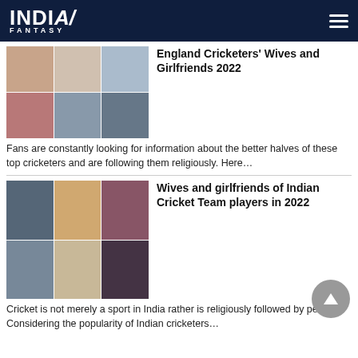INDIA FANTASY
[Figure (photo): Collage of England cricketers with their wives and girlfriends]
England Cricketers' Wives and Girlfriends 2022
Fans are constantly looking for information about the better halves of these top cricketers and are following them religiously. Here…
[Figure (photo): Collage of Indian Cricket Team players with their wives and girlfriends]
Wives and girlfriends of Indian Cricket Team players in 2022
Cricket is not merely a sport in India rather is religiously followed by people. Considering the popularity of Indian cricketers…